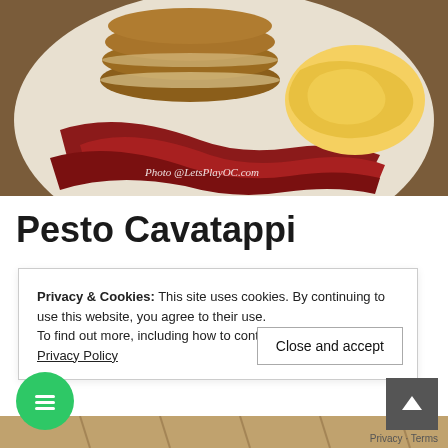[Figure (photo): A plate with a stack of pancakes, crispy bacon strips, and scrambled eggs. A watermark reads 'Photo @LetsPlayOC.com']
Pesto Cavatappi
Privacy & Cookies: This site uses cookies. By continuing to use this website, you agree to their use.
To find out more, including how to control cookies, see here: Privacy Policy
Close and accept
[Figure (photo): Bottom portion of another food photo, partially visible]